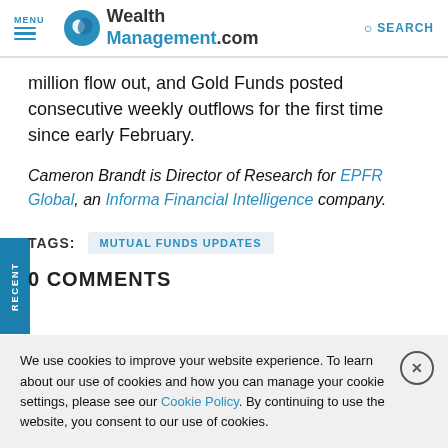MENU | WealthManagement.com | SEARCH
million flow out, and Gold Funds posted consecutive weekly outflows for the first time since early February.
Cameron Brandt is Director of Research for EPFR Global, an Informa Financial Intelligence company.
TAGS: MUTUAL FUNDS UPDATES
0 COMMENTS
We use cookies to improve your website experience. To learn about our use of cookies and how you can manage your cookie settings, please see our Cookie Policy. By continuing to use the website, you consent to our use of cookies.